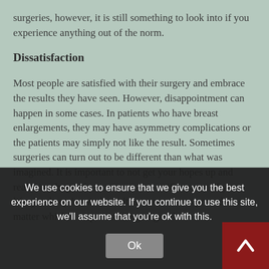surgeries, however, it is still something to look into if you experience anything out of the norm.
Dissatisfaction
Most people are satisfied with their surgery and embrace the results they have seen. However, disappointment can happen in some cases. In patients who have breast enlargements, they may have asymmetry complications or the patients may simply not like the result. Sometimes surgeries can turn out to be different than what was imagined. It is important to not get your hopes up and real... is a huge of specific aspect of your life, just keep in mind it is an enormous procedure no matter which part is being targeted
We use cookies to ensure that we give you the best experience on our website. If you continue to use this site, we'll assume that you're ok with this.